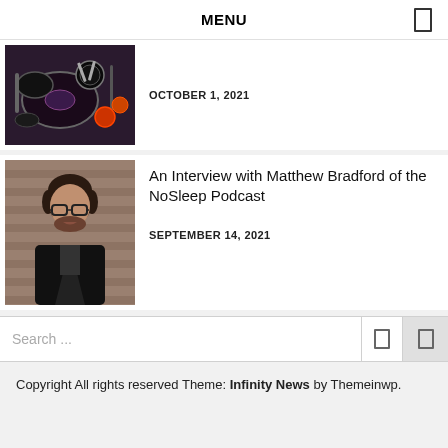MENU
OCTOBER 1, 2021
An Interview with Matthew Bradford of the NoSleep Podcast
SEPTEMBER 14, 2021
Search ...
Copyright All rights reserved Theme: Infinity News by Themeinwp.